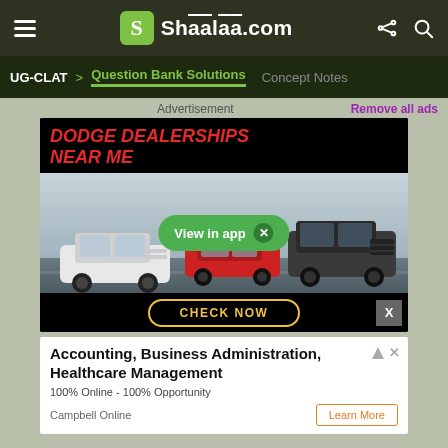Shaalaa.com — UG-CLAT > Question Bank Solutions  Concept Notes
Advertisement
Remove all ads
[Figure (photo): Dodge Dealerships Near Me advertisement showing three Dodge cars on a track with a CHECK NOW button]
[Figure (photo): Accounting, Business Administration, Healthcare Management — 100% Online - 100% Opportunity — Campbell Online — Learn More advertisement]